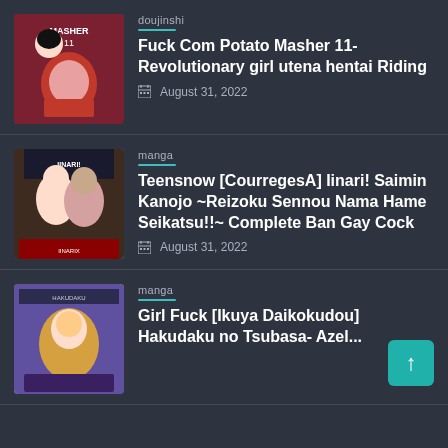[Figure (illustration): Thumbnail cover image for doujinshi entry 1]
doujinshi
Fuck Com Potato Masher 11- Revolutionary girl utena hentai Riding
August 31, 2022
[Figure (illustration): Thumbnail cover image for manga entry 2]
manga
Teensnow [CourregesA] Iinari! Saimin Kanojo ~Reizoku Sennou Nama Hame Seikatsu!!~ Complete Ban Gay Cock
August 31, 2022
[Figure (illustration): Thumbnail cover image for manga entry 3]
manga
Girl Fuck [Ikuya Daikokudou] Hakudaku no Tsubasa- Azel...